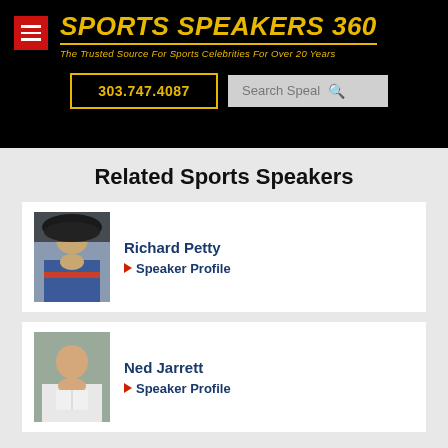Sports Speakers 360 — The Trusted Source For Sports Celebrities For Over 20 Years
303.747.4087
Related Sports Speakers
Richard Petty
▶ Speaker Profile
Ned Jarrett
▶ Speaker Profile